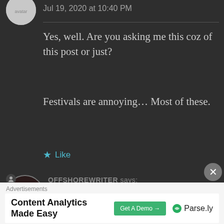Jul 19, 2020 at 10:40 PM
Yes, well. Are you asking me this coz of this post or just?
Festivals are annoying… Most of these.
★ Like
OFFSHOREWRITER says:
Jul 19, 2020 at 10:43 PM
Nope… just asked if you are
Advertisements
Content Analytics Made Easy
Get A Demo →
Parse.ly